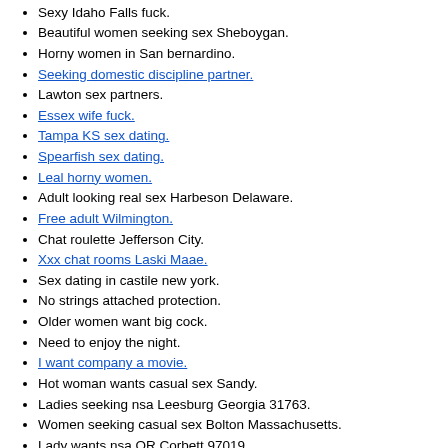Free latin chat lines Winnebago Nebraska.
Sexy Idaho Falls fuck.
Beautiful women seeking sex Sheboygan.
Horny women in San bernardino.
Seeking domestic discipline partner.
Lawton sex partners.
Essex wife fuck.
Tampa KS sex dating.
Spearfish sex dating.
Leal horny women.
Adult looking real sex Harbeson Delaware.
Free adult Wilmington.
Chat roulette Jefferson City.
Xxx chat rooms Laski Maae.
Sex dating in castile new york.
No strings attached protection.
Older women want big cock.
Need to enjoy the night.
I want company a movie.
Hot woman wants casual sex Sandy.
Ladies seeking nsa Leesburg Georgia 31763.
Women seeking casual sex Bolton Massachusetts.
Lady wants nsa OR Corbett 97019.
Monroeville IN sex dating.
Amateur photographer needed.